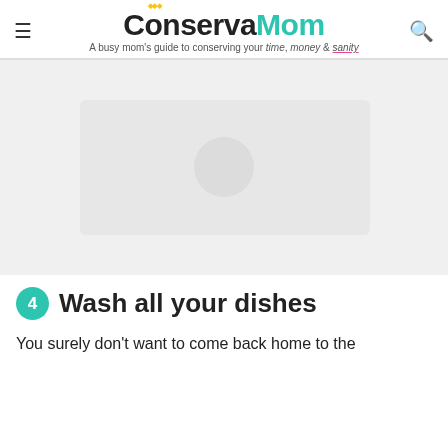ConservaMom — A busy mom's guide to conserving your time, money & sanity
[Figure (photo): Large placeholder image area with light gray background]
4 Wash all your dishes
You surely don't want to come back home to the